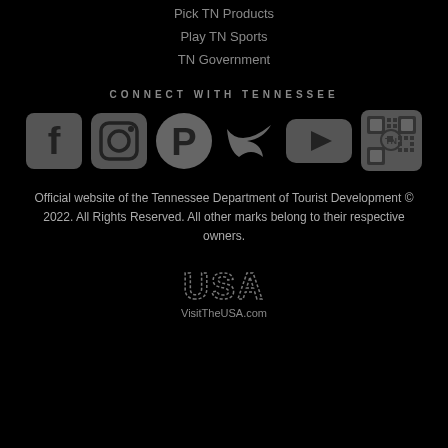Pick TN Products
Play TN Sports
TN Government
CONNECT WITH TENNESSEE
[Figure (infographic): Row of six social media icons: Facebook, Instagram, Pinterest, Twitter, YouTube, and a Snapchat/TN QR code icon]
Official website of the Tennessee Department of Tourist Development © 2022. All Rights Reserved. All other marks belong to their respective owners.
[Figure (logo): VisitTheUSA.com logo with dotted USA lettering]